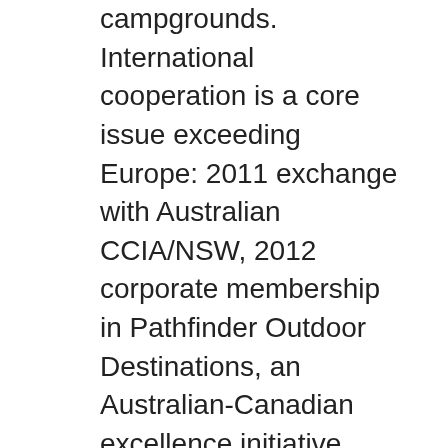campgrounds. International cooperation is a core issue exceeding Europe: 2011 exchange with Australian CCIA/NSW, 2012 corporate membership in Pathfinder Outdoor Destinations, an Australian-Canadian excellence initiative, 2014 lecturer at ACSI-academy (in collaboration with university of Breda NL) for Chinese camping managers as well as supporter of 1st Camping Industry Digital Marketing Survey. Organization of study tours for camping entrepreneurs from abroad such as Best Parks in America (USA). LeadingCampings of Europe are frequently invited for key notes at international camping congresses, they have been co-organizer of European Camping Congress in Essen (D) as long as it existed (2012 – 2016), ever since partner of Deutscher Campingtag South. All LeadingCampings educate staff, an upturn to